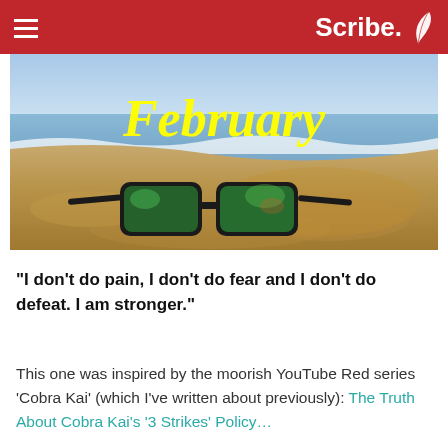Scribe.
[Figure (photo): Beach scene with sunglasses resting in sand near shoreline, with the word 'February' written in yellow italic script over the image.]
“I don’t do pain, I don’t do fear and I don’t do defeat. I am stronger.”
This one was inspired by the moorish YouTube Red series ‘Cobra Kai’ (which I’ve written about previously): The Truth About Cobra Kai’s ‘3 Strikes’ Policy…